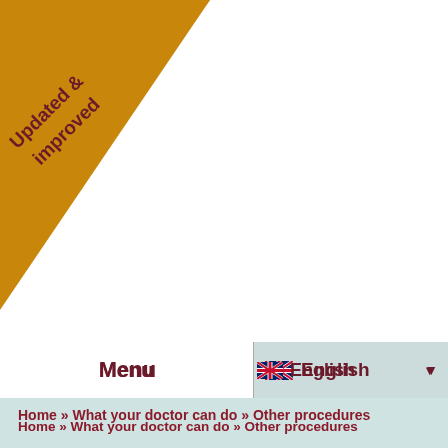[Figure (illustration): Gold/amber triangular corner badge in top-left with text 'Updated & improved' in dark red]
Menu
English ▼
Home » What your doctor can do » Other procedures
OTHER PROCEDURES
Increase text size  /  Decrease text size  |  Print this page  |  Email this page
Your doctor may recommend other procedures to